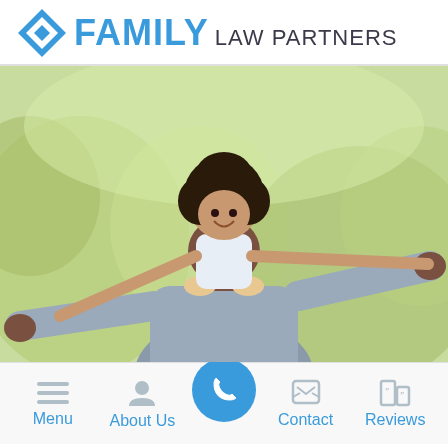[Figure (logo): Family Law Partners logo with blue diamond icon, bold blue FAMILY text, and gray LAW PARTNERS text]
[Figure (photo): A smiling Black father with a young girl on his shoulders, arms outstretched, in a park setting with green blurred background]
[Figure (infographic): Bottom navigation bar with Menu, About Us, phone call button, Contact, and Reviews icons and labels in blue]